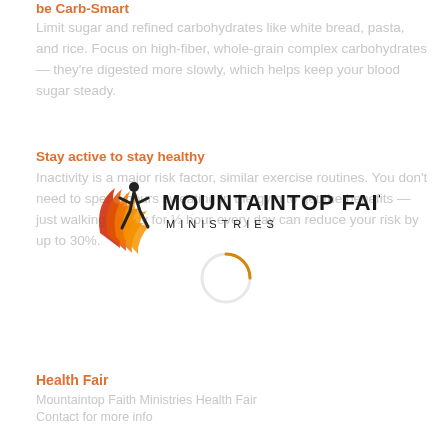be Carb-Smart
Limit sugar and refined carbohydrates like white bread, pasta, and rice. Focus on high-fiber, whole-grain complex carbohydrates — they're digested more slowly, which helps keep your blood sugar steady.
Stay active to stay healthy
Inactivity is a major risk factor, similar exercise routines. You don't need to spend hours sweating in the gym to get the benefits — just walking briskly for ½ hour every day can reduce your risk by up to 30%.
[Figure (logo): Mountaintop Faith Ministries logo with flame and runner figure]
[Figure (other): Loading spinner circle graphic]
Health Fair
Mountaintop Faith Ministries Health Fair
Contact for more info